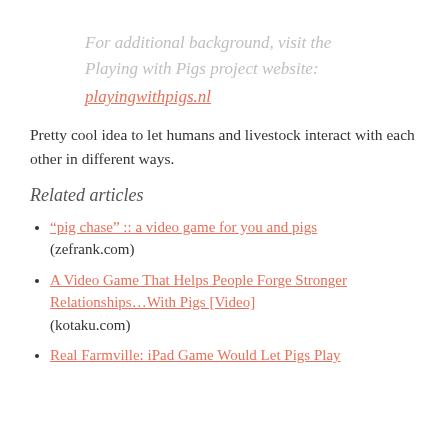For additional background, visit the Playing with Pigs project website:
playingwithpigs.nl
Pretty cool idea to let humans and livestock interact with each other in different ways.
Related articles
“pig chase” :: a video game for you and pigs (zefrank.com)
A Video Game That Helps People Forge Stronger Relationships…With Pigs [Video] (kotaku.com)
Real Farmville: iPad Game Would Let Pigs Play